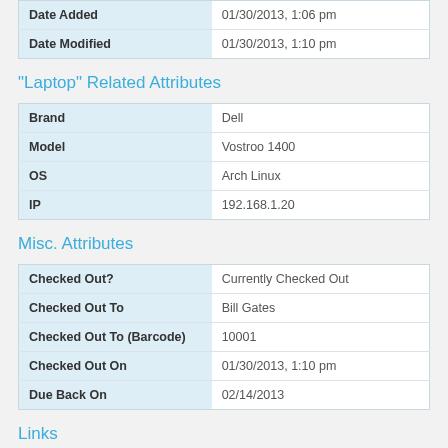| Date Added | Date Modified |
| --- | --- |
| Date Added | 01/30/2013, 1:06 pm |
| Date Modified | 01/30/2013, 1:10 pm |
"Laptop" Related Attributes
| Brand | Model | OS | IP |
| --- | --- | --- | --- |
| Brand | Dell |
| Model | Vostroo 1400 |
| OS | Arch Linux |
| IP | 192.168.1.20 |
Misc. Attributes
| Checked Out? | Checked Out To | Checked Out To (Barcode) | Checked Out On | Due Back On |
| --- | --- | --- | --- | --- |
| Checked Out? | Currently Checked Out |
| Checked Out To | Bill Gates |
| Checked Out To (Barcode) | 10001 |
| Checked Out On | 01/30/2013, 1:10 pm |
| Due Back On | 02/14/2013 |
Links
Bill Gates